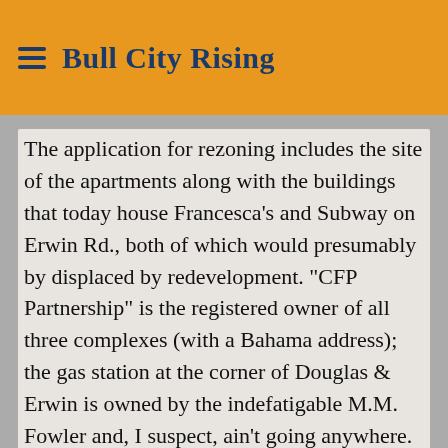Bull City Rising
The application for rezoning includes the site of the apartments along with the buildings that today house Francesca's and Subway on Erwin Rd., both of which would presumably by displaced by redevelopment. "CFP Partnership" is the registered owner of all three complexes (with a Bahama address); the gas station at the corner of Douglas & Erwin is owned by the indefatigable M.M. Fowler and, I suspect, ain't going anywhere.
Crosland describes the project in their application as a four to eight story vertically-integrated building with commercial and residential uses (no retail). Structured parking would be built into the building itself, along